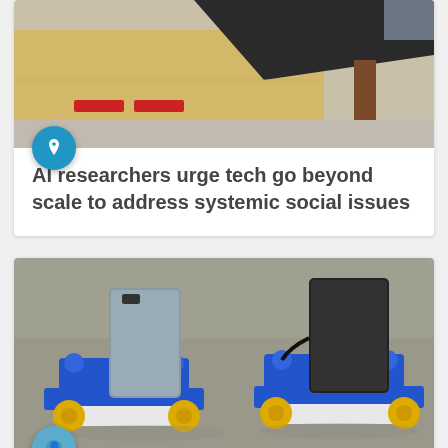[Figure (photo): Outdoor scene with yellow wall, black object overhead, red benches visible in background, urban/campus environment]
AI researchers urge tech go beyond scale to address systemic social issues
[Figure (photo): Two small blue robot cars with yellow wheels and smartphones mounted on them, photographed outdoors on pavement]